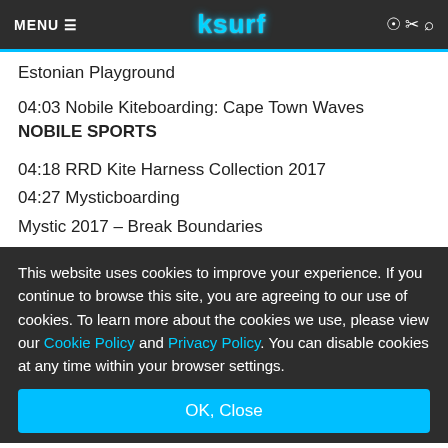MENU ≡  ksurf
Estonian Playground
04:03 Nobile Kiteboarding: Cape Town Waves
NOBILE SPORTS
04:18 RRD Kite Harness Collection 2017
04:27 Mysticboarding
Mystic 2017 – Break Boundaries
This website uses cookies to improve your experience. If you continue to browse this site, you are agreeing to our use of cookies. To learn more about the cookies we use, please view our Cookie Policy and Privacy Policy. You can disable cookies at any time within your browser settings.
OK, Close